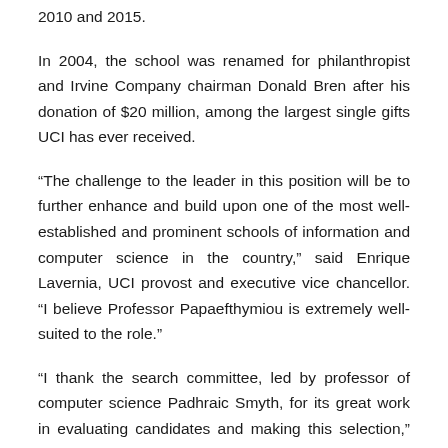2010 and 2015.
In 2004, the school was renamed for philanthropist and Irvine Company chairman Donald Bren after his donation of $20 million, among the largest single gifts UCI has ever received.
“The challenge to the leader in this position will be to further enhance and build upon one of the most well-established and prominent schools of information and computer science in the country,” said Enrique Lavernia, UCI provost and executive vice chancellor. “I believe Professor Papaefthymiou is extremely well-suited to the role.”
“I thank the search committee, led by professor of computer science Padhraic Smyth, for its great work in evaluating candidates and making this selection,” he added. “I would also like to express my deep gratitude to Hal Stern for his